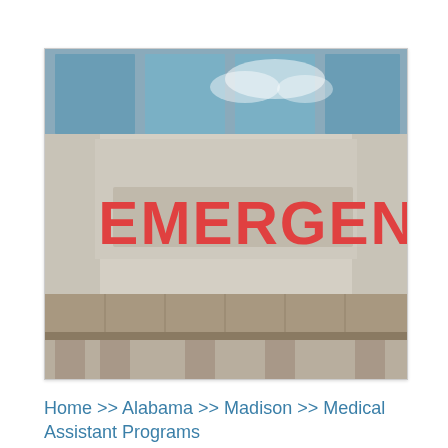[Figure (photo): Photograph of a hospital emergency entrance sign. Large red block letters spelling 'EMERGENCY' mounted on a beige/concrete wall facade. Glass windows of a building visible above. A covered canopy/awning extends below the sign.]
Home >> Alabama >> Madison >> Medical Assistant Programs